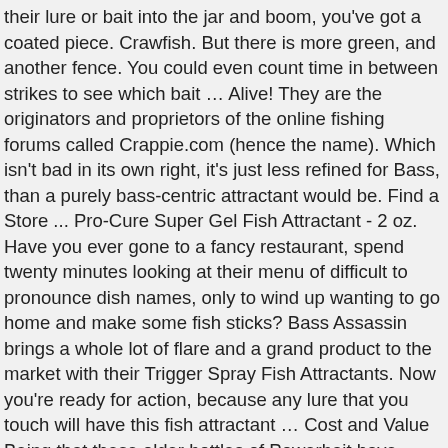their lure or bait into the jar and boom, you've got a coated piece. Crawfish. But there is more green, and another fence. You could even count time in between strikes to see which bait … Alive! They are the originators and proprietors of the online fishing forums called Crappie.com (hence the name). Which isn't bad in its own right, it's just less refined for Bass, than a purely bass-centric attractant would be. Find a Store ... Pro-Cure Super Gel Fish Attractant - 2 oz. Have you ever gone to a fancy restaurant, spend twenty minutes looking at their menu of difficult to pronounce dish names, only to wind up wanting to go home and make some fish sticks? Bass Assassin brings a whole lot of flare and a grand product to the market with their Trigger Spray Fish Attractants. Now you're ready for action, because any lure that you touch will have this fish attractant … Cost and Value Being that these older bottles of Powerbait have nearly been discontinued, but are still available through third party retailers, you're going to get a whole lot of bang for your buck. Cost and Value Though you might be quick to notice